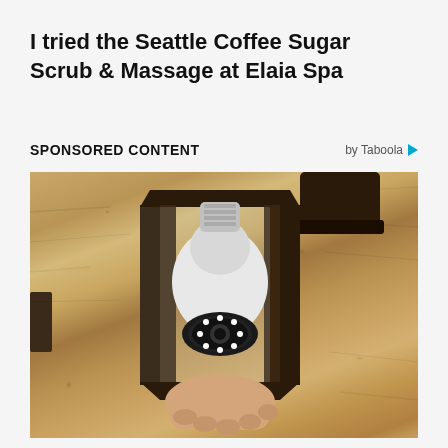I tried the Seattle Coffee Sugar Scrub & Massage at Elaia Spa
SPONSORED CONTENT
by Taboola
[Figure (photo): Close-up photo of a black outdoor lantern-style wall light fixture with a white security camera bulb screwed into it, being held by a person's hand. The background is a textured stucco/plaster wall in sandy beige tones.]